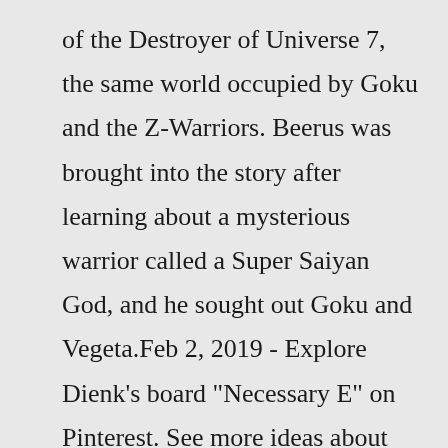of the Destroyer of Universe 7, the same world occupied by Goku and the Z-Warriors. Beerus was brought into the story after learning about a mysterious warrior called a Super Saiyan God, and he sought out Goku and Vegeta.Feb 2, 2019 - Explore Dienk's board "Necessary E" on Pinterest. See more ideas about dragon ball z, dragon ball, dragon ball super.Gohan turns into Grand mystic